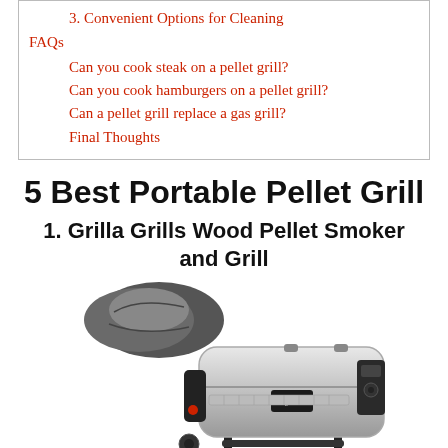3. Convenient Options for Cleaning
FAQs
Can you cook steak on a pellet grill?
Can you cook hamburgers on a pellet grill?
Can a pellet grill replace a gas grill?
Final Thoughts
5 Best Portable Pellet Grill
1. Grilla Grills Wood Pellet Smoker and Grill
[Figure (photo): Photo of a Grilla Grills wood pellet smoker and grill, silver/black cylindrical barrel design with a grill cover (dark grey) placed on top/to the left side.]